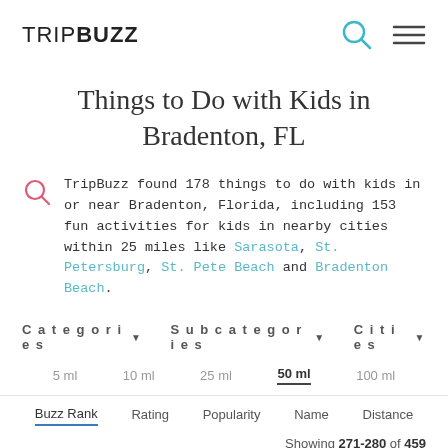TRIPBUZZ
Things to Do with Kids in Bradenton, FL
TripBuzz found 178 things to do with kids in or near Bradenton, Florida, including 153 fun activities for kids in nearby cities within 25 miles like Sarasota, St. Petersburg, St. Pete Beach and Bradenton Beach.
Categories ▾   Subcategories ▾   Cities ▾
5 ml   10 ml   25 ml   50 ml   100 ml
Buzz Rank   Rating   Popularity   Name   Distance
Showing 271-280 of 459